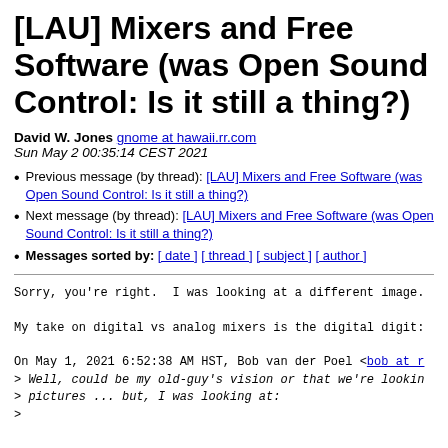[LAU] Mixers and Free Software (was Open Sound Control: Is it still a thing?)
David W. Jones gnome at hawaii.rr.com
Sun May 2 00:35:14 CEST 2021
Previous message (by thread): [LAU] Mixers and Free Software (was Open Sound Control: Is it still a thing?)
Next message (by thread): [LAU] Mixers and Free Software (was Open Sound Control: Is it still a thing?)
Messages sorted by: [ date ] [ thread ] [ subject ] [ author ]
Sorry, you're right.  I was looking at a different image.

My take on digital vs analog mixers is the digital digit:

On May 1, 2021 6:52:38 AM HST, Bob van der Poel <bob at r
> Well, could be my old-guy's vision or that we're lookin
> pictures ... but, I was looking at:
>